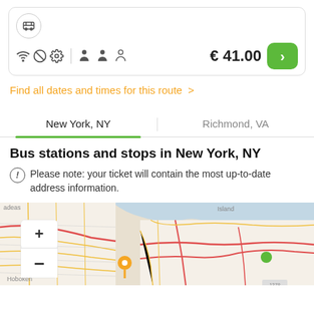[Figure (screenshot): Bus booking card with bus icon, amenity icons (wifi, no-something, settings, 3 person icons), price €41.00 and green arrow button]
Find all dates and times for this route >
New York, NY | Richmond, VA (tabs)
Bus stations and stops in New York, NY
Please note: your ticket will contain the most up-to-date address information.
[Figure (map): Map showing New York City area with Hoboken and Jersey City visible, zoom +/- controls, orange location pin and green dot markers]